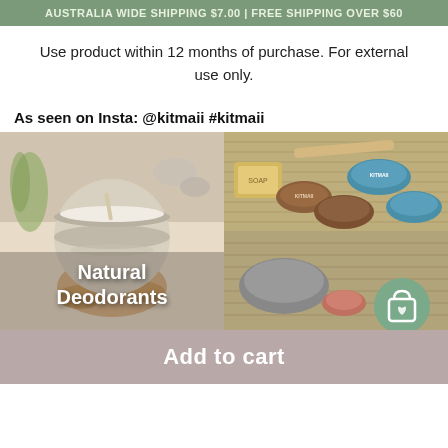AUSTRALIA WIDE SHIPPING $7.00 | FREE SHIPPING OVER $60
Use product within 12 months of purchase. For external use only.
As seen on Insta: @kitmaii #kitmaii
[Figure (photo): Left: hands holding open tin of natural deodorant cream with text overlay 'Natural Deodorants'. Right top: flat lay of natural product tins and soap bar on wicker mat. Right bottom: additional product tins.]
Add to cart